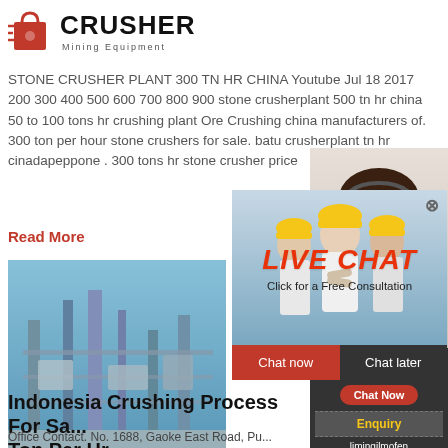CRUSHER Mining Equipment
STONE CRUSHER PLANT 300 TN HR CHINA Youtube Jul 18 2017 200 300 400 500 600 700 800 900 stone crusherplant 500 tn hr china 50 to 100 tons hr crushing plant Ore Crushing china manufacturers of. 300 ton per hour stone crushers for sale. batu crusherplant tn hr cinadapeppone . 300 tons hr stone crusher price
Read More
[Figure (photo): Industrial crushing plant facility with steel structures and equipment]
[Figure (screenshot): Live chat popup overlay showing workers in hard hats, LIVE CHAT heading in red italic, 'Click for a Free Consultation' subtitle, Chat now (red) and Chat later (dark) buttons]
[Figure (photo): Customer service representative wearing headset, smiling]
24Hrs Online
Need questions & suggestion?
Chat Now
Enquiry
limingjlmofen@sina.com
Indonesia Crushing Process For Sale Ton Per Hr
Office Contact. No. 1688, Gaoke East Road, Pudong district, Shanghai, China. +86-21-58386256 +86-21-58386258 [email protected]